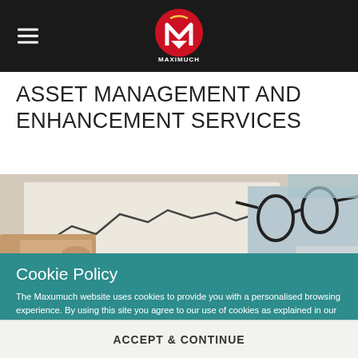MAXIMUCH (logo and navigation header)
ASSET MANAGEMENT AND ENHANCEMENT SERVICES
[Figure (photo): Close-up photo of hands holding a paper with a line chart/graph, with glasses resting on documents in the background]
Cookie Policy
The Maxumuch website uses cookies to provide you with a personalised browsing experience. By using this site you agree to our use of cookies as explained in our Cookie Policy. Please read our Cookie Policy for more information on how we use cookies and how you can manage them.
ACCEPT & CONTINUE